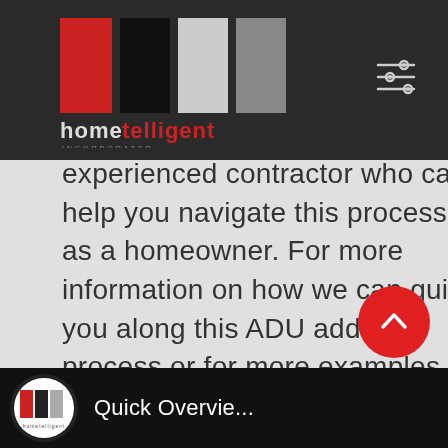hometelligent INCORPORATED
experienced contractor who can help you navigate this process as a homeowner. For more information on how we can guide you along this ADU add-on process or for more examples of our work, contact us at 800.298.2003.
[Figure (screenshot): Quick Overview video thumbnail with hometelligent logo and title 'Quick Overvie...']